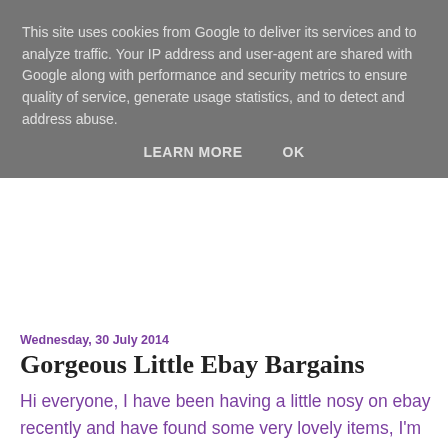This site uses cookies from Google to deliver its services and to analyze traffic. Your IP address and user-agent are shared with Google along with performance and security metrics to ensure quality of service, generate usage statistics, and to detect and address abuse.
LEARN MORE    OK
Wednesday, 30 July 2014
Gorgeous Little Ebay Bargains
Hi everyone, I have been having a little nosy on ebay recently and have found some very lovely items, I'm still shocked at the prices of all of these because they are so ridiculously cheap!  They're all from over-seas though so I had to wait about 2-3 weeks for them to arrive and a couple of the items that I ordered about a week ago, still haven't arrived yet.  But, I was so excited about